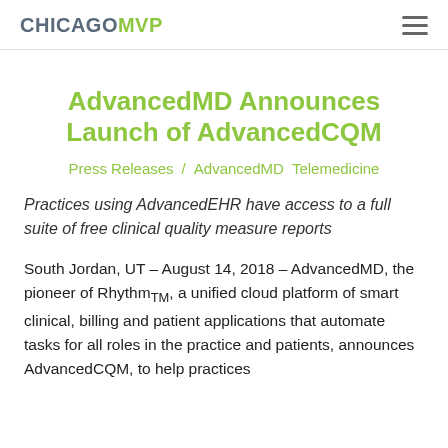CHICAGOMVP
AdvancedMD Announces Launch of AdvancedCQM
Press Releases / AdvancedMD Telemedicine
Practices using AdvancedEHR have access to a full suite of free clinical quality measure reports
South Jordan, UT – August 14, 2018 – AdvancedMD, the pioneer of Rhythm™, a unified cloud platform of smart clinical, billing and patient applications that automate tasks for all roles in the practice and patients, announces AdvancedCQM, to help practices